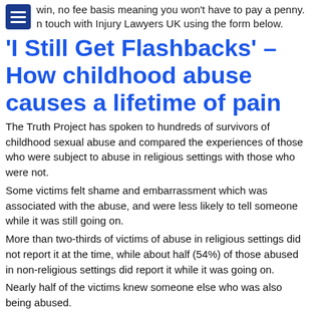win, no fee basis meaning you won't have to pay a penny.
Get in touch with Injury Lawyers UK using the form below.
'I Still Get Flashbacks' – How childhood abuse causes a lifetime of pain
The Truth Project has spoken to hundreds of survivors of childhood sexual abuse and compared the experiences of those who were subject to abuse in religious settings with those who were not.
Some victims felt shame and embarrassment which was associated with the abuse, and were less likely to tell someone while it was still going on.
More than two-thirds of victims of abuse in religious settings did not report it at the time, while about half (54%) of those abused in non-religious settings did report it while it was going on.
Nearly half of the victims knew someone else who was also being abused.